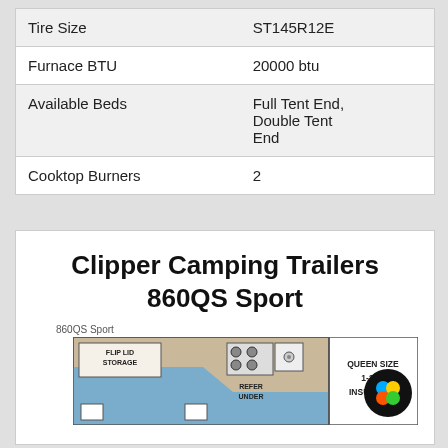| Feature | Value |
| --- | --- |
| Tire Size | ST145R12E |
| Furnace BTU | 20000 btu |
| Available Beds | Full Tent End, Double Tent End |
| Cooktop Burners | 2 |
Clipper Camping Trailers 860QS Sport
860QS Sport
[Figure (illustration): Floorplan diagram of Clipper Camping Trailers 860QS Sport showing FLIP LID STORAGE area, cooktop, REFER UNDER label, and QUEEN SIZE 1-1/4" INSULATED section on the right side.]